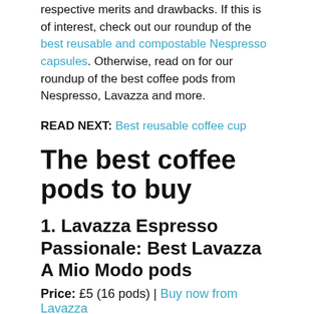respective merits and drawbacks. If this is of interest, check out our roundup of the best reusable and compostable Nespresso capsules. Otherwise, read on for our roundup of the best coffee pods from Nespresso, Lavazza and more.
READ NEXT: Best reusable coffee cup
The best coffee pods to buy
1. Lavazza Espresso Passionale: Best Lavazza A Mio Modo pods
Price: £5 (16 pods) | Buy now from Lavazza
[Figure (photo): Lavazza Espresso Passionale coffee pod box — red and black packaging with Lavazza branding and 'Passionale' label on front]